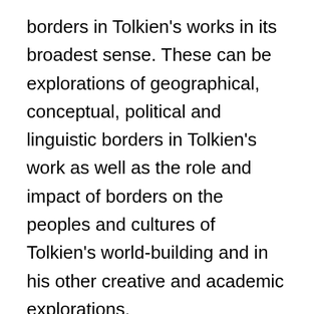borders in Tolkien's works in its broadest sense. These can be explorations of geographical, conceptual, political and linguistic borders in Tolkien's work as well as the role and impact of borders on the peoples and cultures of Tolkien's world-building and in his other creative and academic explorations.
Sessions 4-5: Tolkien: Medieval Roots and Modern Branches – paper sessions
These sessions can accommodate wider topics and new approaches to Tolkien's medievalism, ranging from source studies and